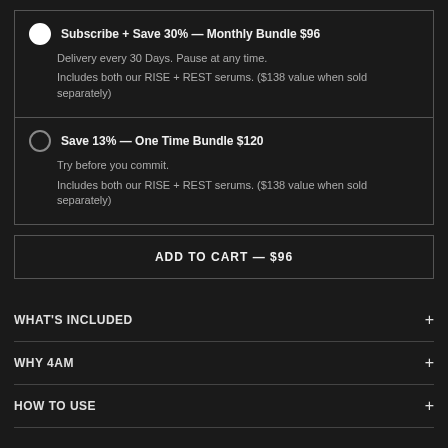Subscribe + Save 30% — Monthly Bundle $96
Delivery every 30 Days. Pause at any time.
Includes both our RISE + REST serums. ($138 value when sold separately)
Save 13% — One Time Bundle $120
Try before you commit.
Includes both our RISE + REST serums. ($138 value when sold separately)
ADD TO CART — $96
WHAT'S INCLUDED
WHY 4AM
HOW TO USE